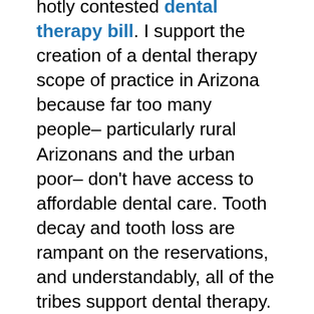hotly contested dental therapy bill. I support the creation of a dental therapy scope of practice in Arizona because far too many people– particularly rural Arizonans and the urban poor– don't have access to affordable dental care. Tooth decay and tooth loss are rampant on the reservations, and understandably, all of the tribes support dental therapy. Dental therapists would work under the supervision of a dentist in private practice or under dentist(s) in a community health center. Dental therapists can expand access to care by traveling to remote areas and using telemedicine to communicate with the supervising dentists. They can also help prevent tooth decay by doing screenings and health education. Dental therapy has a broad coalition of support including community health centers (like El Rio), the public health community, all of the tribes, the Goldwater Institute, and many more organizations. Besides being a public health issue, dental therapy is a workforce development for these